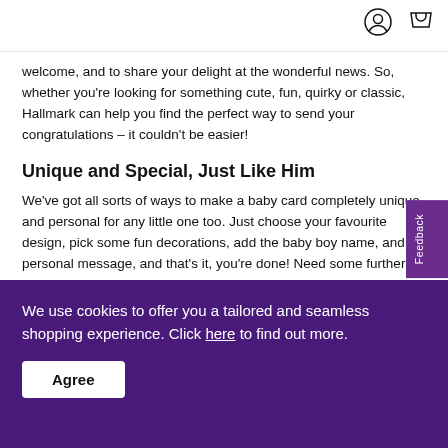welcome, and to share your delight at the wonderful news. So, whether you're looking for something cute, fun, quirky or classic, Hallmark can help you find the perfect way to send your congratulations – it couldn't be easier!
Unique and Special, Just Like Him
We've got all sorts of ways to make a baby card completely unique and personal for any little one too. Just choose your favourite design, pick some fun decorations, add the baby boy name, and a personal message, and that's it, you're done! Need some further inspiration for your message? Our exclusive library
We use cookies to offer you a tailored and seamless shopping experience. Click here to find out more.
Agree